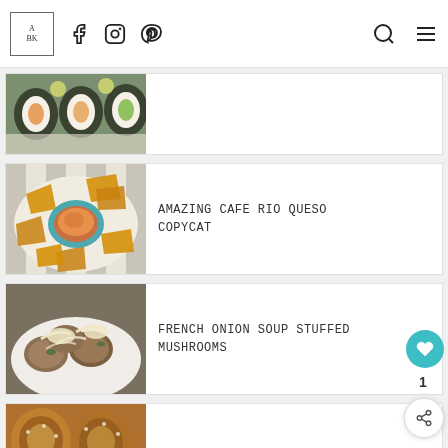Navigation bar with logo (A BK), Facebook, Instagram, Pinterest icons, search and menu icons
[Figure (photo): Top partial view of sushi rolls on a white plate with lemon slices]
[Figure (photo): Overhead view of a bowl of queso dip surrounded by tortilla chips on a white plate]
AMAZING CAFE RIO QUESO COPYCAT
[Figure (photo): Bowl of stuffed mushrooms with melted cheese and herbs]
FRENCH ONION SOUP STUFFED MUSHROOMS
[Figure (photo): Partial bottom view of pretzel rolls]